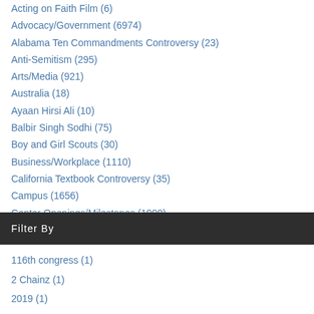Acting on Faith Film (6)
Advocacy/Government (6974)
Alabama Ten Commandments Controversy (23)
Anti-Semitism (295)
Arts/Media (921)
Australia (18)
Ayaan Hirsi Ali (10)
Balbir Singh Sodhi (75)
Boy and Girl Scouts (30)
Business/Workplace (1110)
California Textbook Controversy (35)
Campus (1656)
Center Openings/Milestones (1999)
Filter By
116th congress (1)
2 Chainz (1)
2019 (1)
ADL (2)